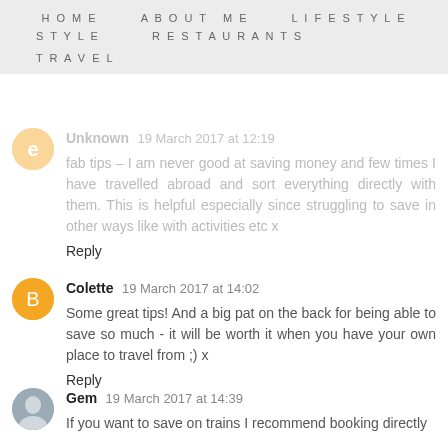HOME  ABOUT ME  LIFESTYLE  STYLE  RESTAURANTS  TRAVEL
Unknown  19 March 2017 at 12:19
fab tips - I am never good at saving money and few times I have travelled abroad and sort everything directly with them. This is helpful especially since struggling to save in other ways like with activities etc x
Reply
Colette  19 March 2017 at 14:02
Some great tips! And a big pat on the back for being able to save so much - it will be worth it when you have your own place to travel from ;) x
Reply
Gem  19 March 2017 at 14:39
If you want to save on trains I recommend booking directly